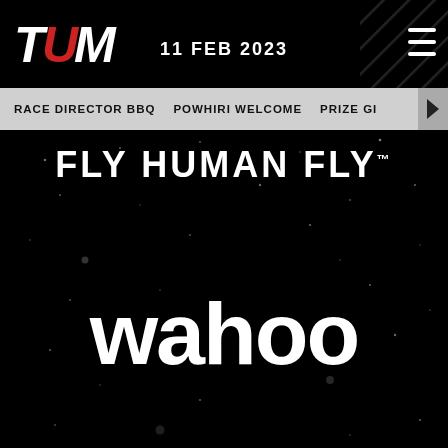TUM — 11 FEB 2023
RACE DIRECTOR BBQ   POWHIRI WELCOME   PRIZE GI▶
FLY HUMAN FLY
[Figure (logo): Wahoo brand logo in large white bold lowercase text 'wahoo' on black background]